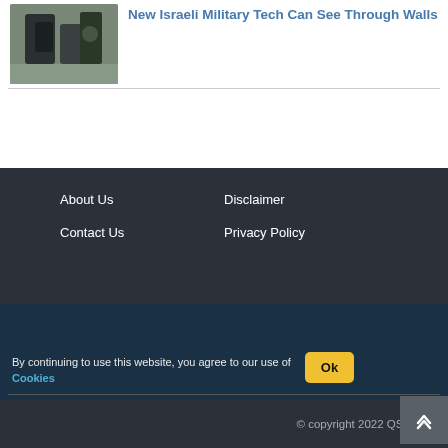New Israeli Military Tech Can See Through Walls
About Us | Contact Us | Disclaimer | Privacy Policy
By continuing to use this website, you agree to our use of Cookies
© copyright 2022 QS Study